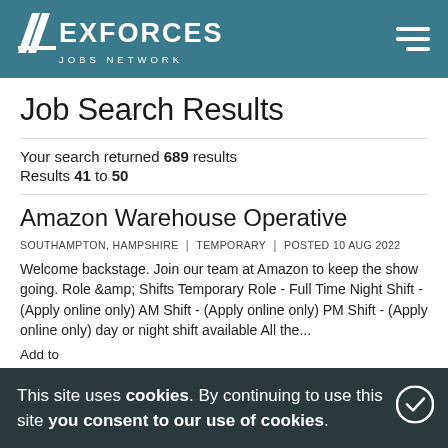[Figure (logo): ExForces Jobs Network logo — white chevron/N shape with EXFORCES in bold white and JOBS NETWORK subtitle on teal background, hamburger menu icon top right]
Job Search Results
Your search returned 689 results
Results 41 to 50
Amazon Warehouse Operative
SOUTHAMPTON, HAMPSHIRE | TEMPORARY | POSTED 10 AUG 2022
Welcome backstage. Join our team at Amazon to keep the show going. Role &amp; Shifts Temporary Role - Full Time Night Shift - (Apply online only) AM Shift - (Apply online only) PM Shift - (Apply online only) day or night shift available All the...
Add to...
This site uses cookies. By continuing to use this site you consent to our use of cookies.